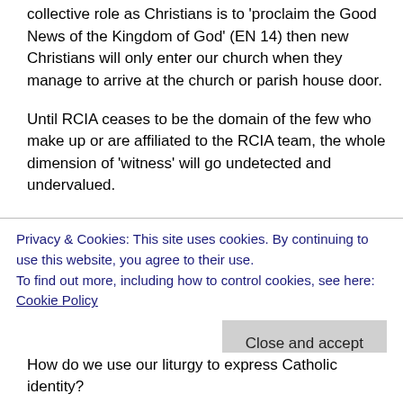collective role as Christians is to 'proclaim the Good News of the Kingdom of God' (EN 14) then new Christians will only enter our church when they manage to arrive at the church or parish house door.
Until RCIA ceases to be the domain of the few who make up or are affiliated to the RCIA team, the whole dimension of 'witness' will go undetected and undervalued.
I'll end with a suggestion. As our fully initiated Catholics emerge at the Easter Vigil, how might we benefit from their experience? Has anybody analysed and assessed
Privacy & Cookies: This site uses cookies. By continuing to use this website, you agree to their use.
To find out more, including how to control cookies, see here: Cookie Policy
How do we use our liturgy to express Catholic identity?